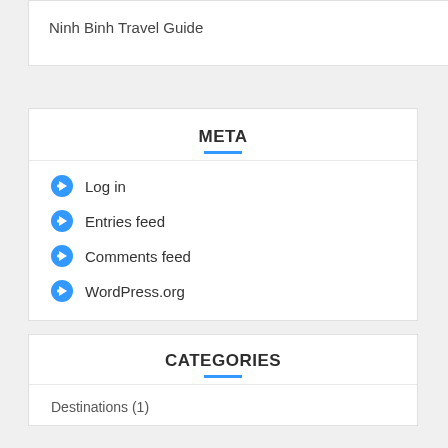Ninh Binh Travel Guide
META
Log in
Entries feed
Comments feed
WordPress.org
CATEGORIES
Destinations (1)